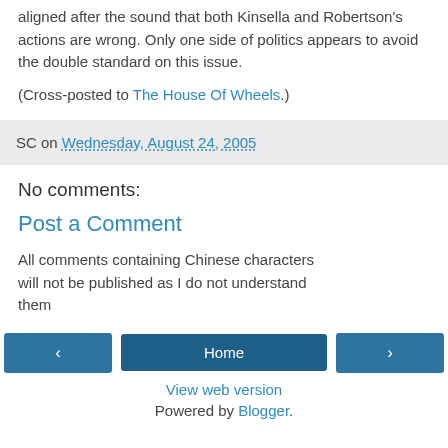aligned after the sound that both Kinsella and Robertson's actions are wrong. Only one side of politics appears to avoid the double standard on this issue.
(Cross-posted to The House Of Wheels.)
SC on Wednesday, August 24, 2005
No comments:
Post a Comment
All comments containing Chinese characters will not be published as I do not understand them
< Home > View web version Powered by Blogger.